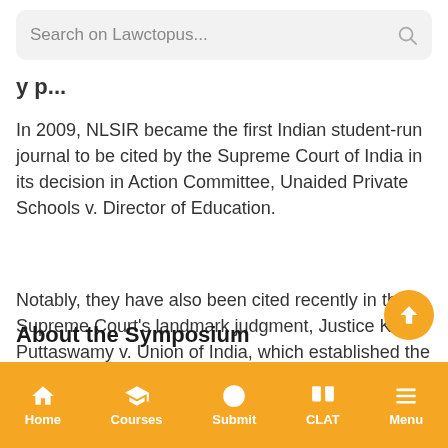Search on Lawctopus...
In 2009, NLSIR became the first Indian student-run journal to be cited by the Supreme Court of India in its decision in Action Committee, Unaided Private Schools v. Director of Education.
Notably, they have also been cited recently in the Supreme Court's landmark judgment, Justice K.S. Puttaswamy v. Union of India, which established the Right to Privacy in India.
About the Symposium
Home | Courses | Submit | CLAT | Menu